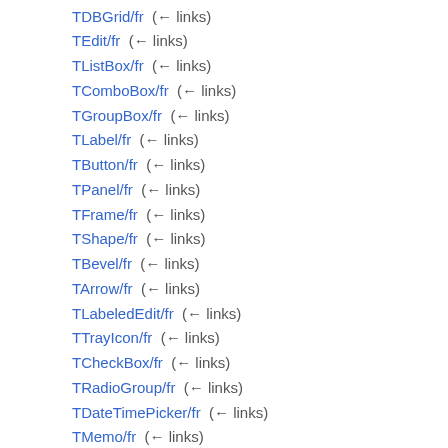TDBGrid/fr (← links)
TEdit/fr (← links)
TListBox/fr (← links)
TComboBox/fr (← links)
TGroupBox/fr (← links)
TLabel/fr (← links)
TButton/fr (← links)
TPanel/fr (← links)
TFrame/fr (← links)
TShape/fr (← links)
TBevel/fr (← links)
TArrow/fr (← links)
TLabeledEdit/fr (← links)
TTrayIcon/fr (← links)
TCheckBox/fr (← links)
TRadioGroup/fr (← links)
TDateTimePicker/fr (← links)
TMemo/fr (← links)
TRadioButton/fr (← links)
TScrollBar/fr (← links)
TToggleBox/fr (← links)
TCheckGroup/fr (← links)
TActionList/fr (← links)